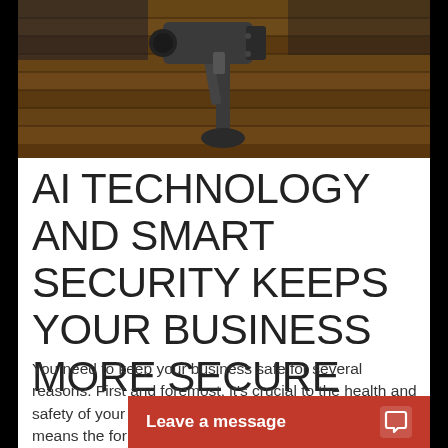[Figure (photo): Security camera mounted on a rooftop with wooden shingles, viewed from below against a dark sky]
AI TECHNOLOGY AND SMART SECURITY KEEPS YOUR BUSINESS MORE SECURE
You need to keep your business safe for several reasons. First and foremost, it's crucial to the health and safety of your employees. Second, a secure business means the [rest cut off] for theft and vandali[sm cut off]